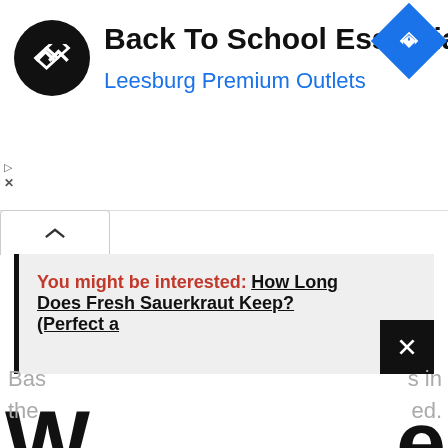[Figure (screenshot): Advertisement banner for Back To School Essentials at Leesburg Premium Outlets with circular logo and blue diamond navigation icon]
Back To School Essentials
Leesburg Premium Outlets
[Figure (screenshot): Collapse/accordion tab with upward chevron arrow]
You might be interested:  How Long Does Fresh Sauerkraut Keep? (Perfect a
W
e
be
?
Bas
s in
the
ed.